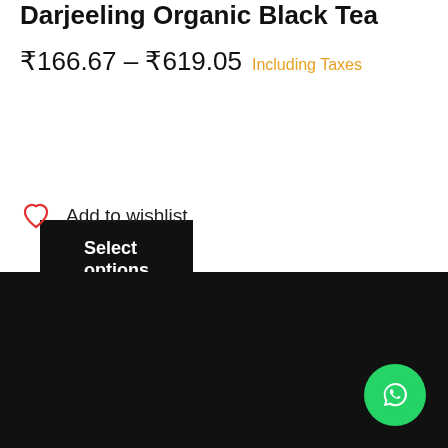Darjeeling Organic Black Tea
₹166.67 – ₹619.05 Including Taxes
Select options
Add to wishlist